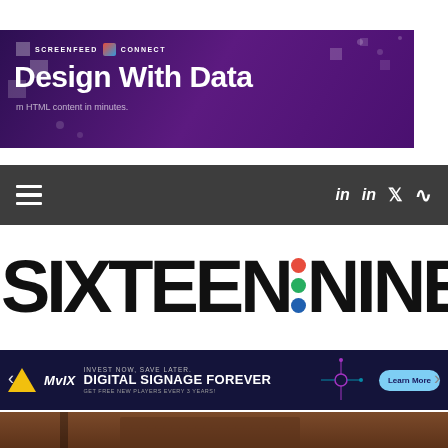[Figure (screenshot): Screenfeed Connect banner ad with purple gradient background, showing 'Design With Data' headline and 'HTML content in minutes' subtitle]
[Figure (screenshot): Dark navigation bar with hamburger menu on left and social media icons (LinkedIn, LinkedIn, Twitter, RSS) on right]
[Figure (logo): Sixteen:Nine logo in large bold black text with red, green, and blue dots between SIXTEEN and NINE]
[Figure (screenshot): Mvix advertisement banner: INVEST NOW, SAVE LATER. DIGITAL SIGNAGE FOREVER. GET FREE NEW PLAYERS EVERY 3 YEARS! with Learn More button]
[Figure (photo): Bottom portion of a photo showing brown/wood toned background]